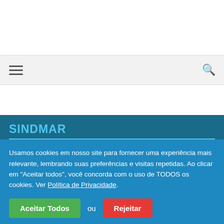[Figure (screenshot): Navigation bar with hamburger menu icon on the left and search icon on the right, on a light grey background]
SINDMAR
Usamos cookies em nosso site para fornecer uma experiência mais relevante, lembrando suas preferências e visitas repetidas. Ao clicar em “Aceitar todos”, você concorda com o uso de TODOS os cookies. Ver Política de Privacidade.
Aceitar Todos ou Rejeitar